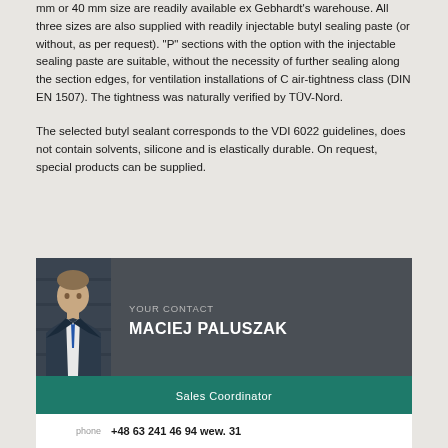mm or 40 mm size are readily available ex Gebhardt's warehouse. All three sizes are also supplied with readily injectable butyl sealing paste (or without, as per request). "P" sections with the option with the injectable sealing paste are suitable, without the necessity of further sealing along the section edges, for ventilation installations of C air-tightness class (DIN EN 1507). The tightness was naturally verified by TÜV-Nord.
The selected butyl sealant corresponds to the VDI 6022 guidelines, does not contain solvents, silicone and is elastically durable. On request, special products can be supplied.
[Figure (photo): Contact card showing a professional portrait photo of Maciej Paluszak (a man in a suit with tie) against a dark background, with name and title displayed. Dark gray header section with photo and name 'YOUR CONTACT MACIEJ PALUSZAK', teal/green bar below with 'Sales Coordinator'.]
phone   +48 63 241 46 94 wew. 31